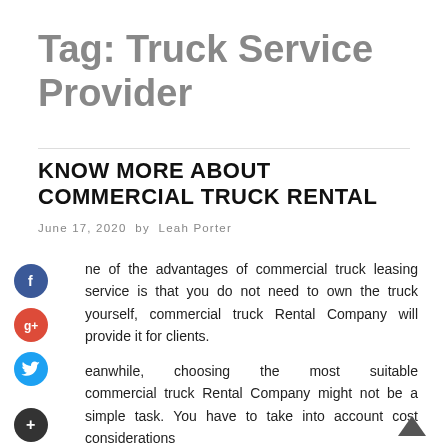Tag: Truck Service Provider
KNOW MORE ABOUT COMMERCIAL TRUCK RENTAL
June 17, 2020 by Leah Porter
One of the advantages of commercial truck leasing service is that you do not need to own the truck yourself, commercial truck Rental Company will provide it for clients.
Meanwhile, choosing the most suitable commercial truck Rental Company might not be a simple task. You have to take into account cost considerations